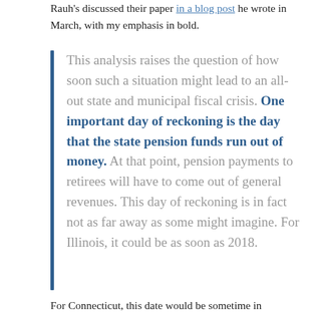Rauh's discussed their paper in a blog post he wrote in March, with my emphasis in bold.
This analysis raises the question of how soon such a situation might lead to an all-out state and municipal fiscal crisis. One important day of reckoning is the day that the state pension funds run out of money. At that point, pension payments to retirees will have to come out of general revenues. This day of reckoning is in fact not as far away as some might imagine. For Illinois, it could be as soon as 2018.
For Connecticut, this date would be sometime in